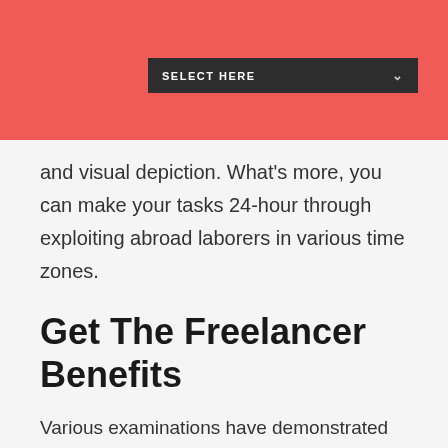[Figure (screenshot): Red header bar with dark dropdown select box labeled SELECT HERE]
and visual depiction. What's more, you can make your tasks 24-hour through exploiting abroad laborers in various time zones.
Get The Freelancer Benefits
Various examinations have demonstrated that the enterprising outsourcing soul is flourishing and dynamic and numerous experts are progressively leaving they're all day work to take this good dive. Putting resources into an all-around verified freelancer could in certainty convey multiple